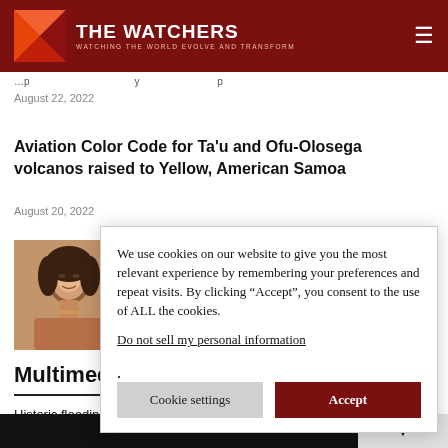THE WATCHERS — WATCHING THE WORLD EVOLVE AND TRANSFORM
August 22, 2022
Aviation Color Code for Ta'u and Ofu-Olosega volcanos raised to Yellow, American Samoa
August 20, 2022
[Figure (photo): Portrait photo of a woman with curly hair]
Multimedia
Historic flooding h
August 26, 2022
We use cookies on our website to give you the most relevant experience by remembering your preferences and repeat visits. By clicking “Accept”, you consent to the use of ALL the cookies.
Do not sell my personal information.